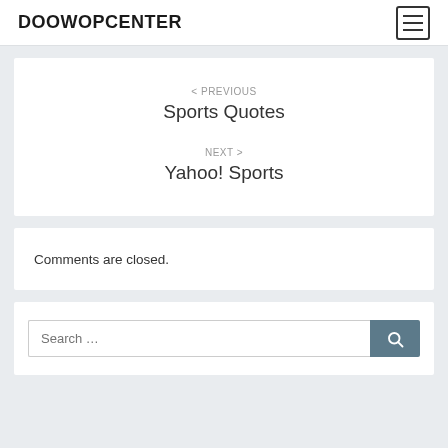DOOWOPCENTER
< PREVIOUS
Sports Quotes
NEXT >
Yahoo! Sports
Comments are closed.
Search …